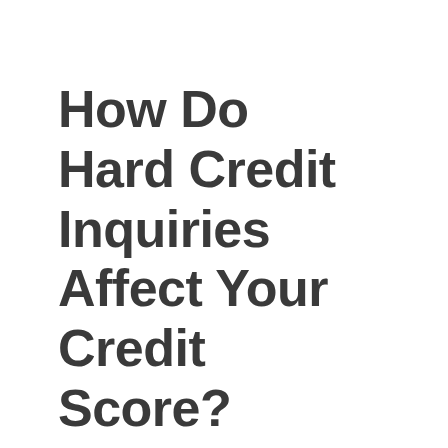How Do Hard Credit Inquiries Affect Your Credit Score?